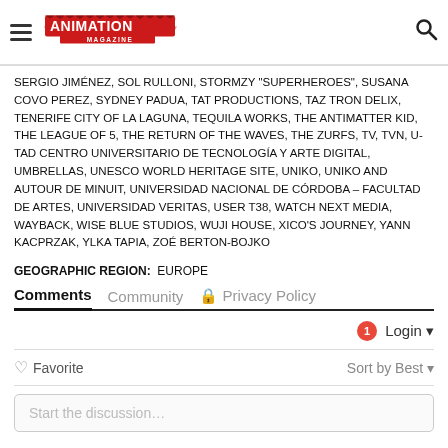Animation Magazine
SERGIO JIMÉNEZ, SOL RULLONI, STORMZY "SUPERHEROES", SUSANA COVO PEREZ, SYDNEY PADUA, TAT PRODUCTIONS, TAZ TRON DELIX, TENERIFE CITY OF LA LAGUNA, TEQUILA WORKS, THE ANTIMATTER KID, THE LEAGUE OF 5, THE RETURN OF THE WAVES, THE ZURFS, TV, TVN, U-TAD CENTRO UNIVERSITARIO DE TECNOLOGÍA Y ARTE DIGITAL, UMBRELLAS, UNESCO WORLD HERITAGE SITE, UNIKO, UNIKO AND AUTOUR DE MINUIT, UNIVERSIDAD NACIONAL DE CÓRDOBA – FACULTAD DE ARTES, UNIVERSIDAD VERITAS, USER T38, WATCH NEXT MEDIA, WAYBACK, WISE BLUE STUDIOS, WUJI HOUSE, XICO'S JOURNEY, YANN KACPRZAK, YLKA TAPIA, ZOÉ BERTON-BOJKO
GEOGRAPHIC REGION: EUROPE
Comments  Community  🔒 Privacy Policy
1 Login
♡ Favorite     Sort by Best
Start the discussion…